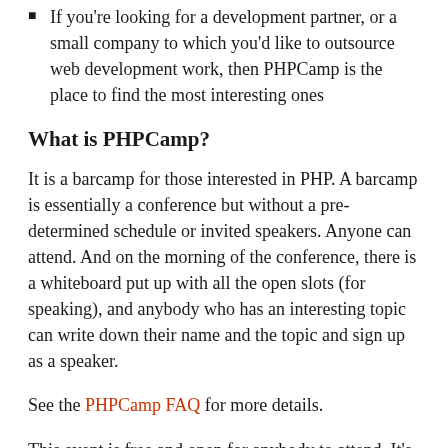If you're looking for a development partner, or a small company to which you'd like to outsource web development work, then PHPCamp is the place to find the most interesting ones
What is PHPCamp?
It is a barcamp for those interested in PHP. A barcamp is essentially a conference but without a pre-determined schedule or invited speakers. Anyone can attend. And on the morning of the conference, there is a whiteboard put up with all the open slots (for speaking), and anybody who has an interesting topic can write down their name and the topic and sign up as a speaker.
See the PHPCamp FAQ for more details.
This event is free and open for anybody to attend. It's on Saturday, 5th March, from 9:30am to 5pm, at SICSR, at